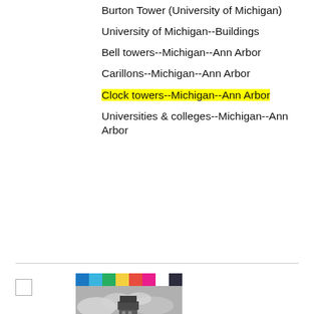Burton Tower (University of Michigan)
University of Michigan--Buildings
Bell towers--Michigan--Ann Arbor
Carillons--Michigan--Ann Arbor
Clock towers--Michigan--Ann Arbor
Universities & colleges--Michigan--Ann Arbor
[Figure (photo): Black and white photograph of Burton Memorial Tower with color calibration bar at top]
Burton Memorial Tower; BL001997
Item Number